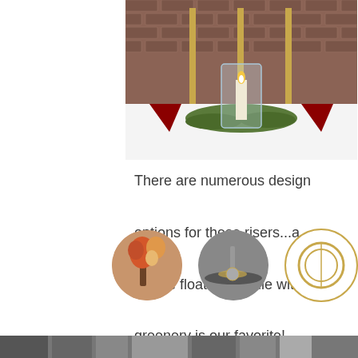[Figure (photo): Centerpiece photo: gold pillar risers on white tablecloth with glass hurricane candle holder, floating candle, greenery, and red napkins, brick wall background]
There are numerous design options for these risers...a simple floating candle with greenery is our favorite!
[Figure (photo): Row of three circular thumbnail photos: floral arrangement, table setting, ring/hoop decorative item. Plus right arrow navigation icon.]
[Figure (photo): Right side: grayscale building/exterior photo strip]
[Figure (photo): Bottom strip: grayscale partial images]